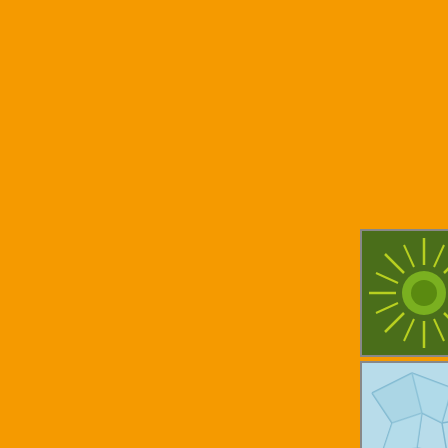[Figure (illustration): Orange background panel on left side of page]
and Zeta. Tony had a nice g... few weeks.
The real deficiency on this te... lack of talent. Youth has som... the same way, I'd like to see ... the asst's. There is a lot of ta... off the mound. If they clean u... factor the rest of the way, and...
LETS GO CANES!!!!!!!!!!!!!!!!!!!
Posted by: Mephistopheles | May 2
[Figure (illustration): Green sunburst avatar icon with circular rays and central circle]
Correction: Miami swept UNC
They also swept either 8th se... 6 over their last 12 games, I t... Canes. Can they execute?
Posted by: Mephistopheles | May 2
[Figure (illustration): Light blue geometric map/network pattern avatar icon]
Trifecta Box both bets.
I've got: